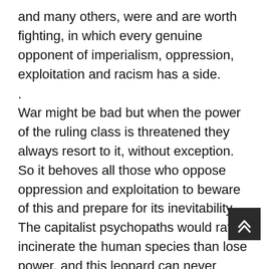and many others, were and are worth fighting, in which every genuine opponent of imperialism, oppression, exploitation and racism has a side.
.
War might be bad but when the power of the ruling class is threatened they always resort to it, without exception. So it behoves all those who oppose oppression and exploitation to beware of this and prepare for its inevitability. The capitalist psychopaths would rather incinerate the human species than lose power, and this leopard can never change its spots.
.
Today, the US is as close to a civil war as it's been in nearly a century (the reference